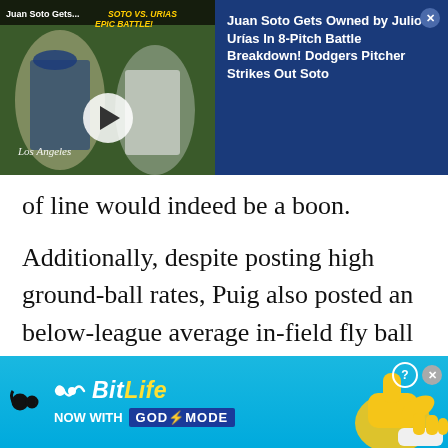[Figure (screenshot): Video thumbnail showing two baseball players (Dodgers uniforms) with play button overlay, title 'Juan Soto Gets...' and yellow text 'SOTO VS. URIAS EPIC BATTLE!' overlaid on a dark banner]
Juan Soto Gets Owned by Julio Urías In 8-Pitch Battle Breakdown! Dodgers Pitcher Strikes Out Soto
of line would indeed be a boon.
Additionally, despite posting high ground-ball rates, Puig also posted an below-league average in-field fly ball rate. If Puig swings that ground-ball rate maybe another 6-8% lower, he will likely see a spike across the board in his
[Figure (screenshot): BitLife advertisement banner: 'NOW WITH GOD MODE' with cartoon thumbs-up hand graphic on cyan/blue background]